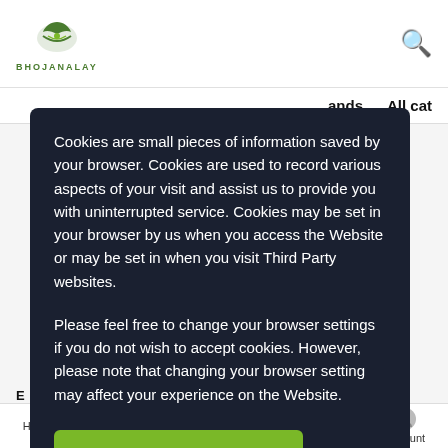[Figure (logo): Bhojanalay logo — green leaf/bowl icon with text BHOJANALAY below]
BHOJANALAY  [search icon]  ands  All cat
Cookies are small pieces of information saved by your browser.  Cookies are used to record various aspects of your visit and assist us to provide you with uninterrupted service.  Cookies may be set in your browser by us when you access the Website or may be set in when you visit Third Party websites.
Please feel free to change your browser settings if you do not wish to accept cookies.  However, please note that changing your browser setting may affect your experience on the Website.
Ok. I Understood
Home  Categories  Cart (0)  Notifications  Account